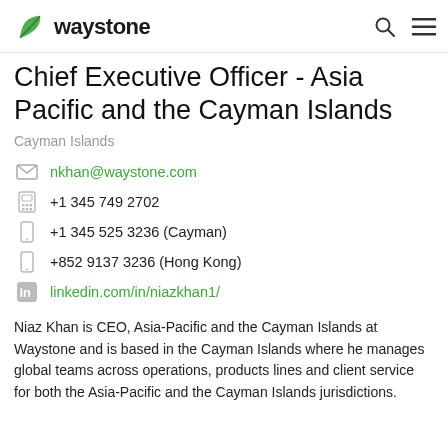waystone
Chief Executive Officer - Asia Pacific and the Cayman Islands
Cayman Islands
nkhan@waystone.com
+1 345 749 2702
+1 345 525 3236 (Cayman)
+852 9137 3236 (Hong Kong)
linkedin.com/in/niazkhan1/
Niaz Khan is CEO, Asia-Pacific and the Cayman Islands at Waystone and is based in the Cayman Islands where he manages global teams across operations, products lines and client service for both the Asia-Pacific and the Cayman Islands jurisdictions.